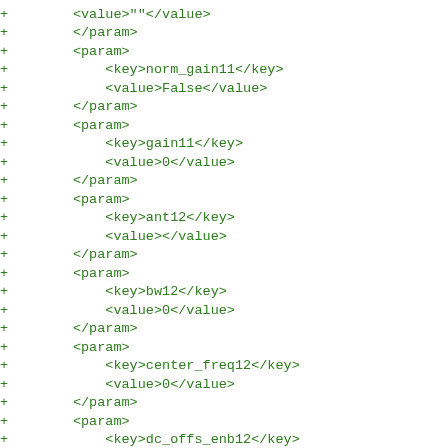+        <value>""</value>
+        </param>
+        <param>
+            <key>norm_gain11</key>
+            <value>False</value>
+        </param>
+        <param>
+            <key>gain11</key>
+            <value>0</value>
+        </param>
+        <param>
+            <key>ant12</key>
+            <value></value>
+        </param>
+        <param>
+            <key>bw12</key>
+            <value>0</value>
+        </param>
+        <param>
+            <key>center_freq12</key>
+            <value>0</value>
+        </param>
+        <param>
+            <key>dc_offs_enb12</key>
+            <value>""</value>
+        </param>
+        <param>
+            <key>iq_imbal_enb12</key>
+            <value>""</value>
+        </param>